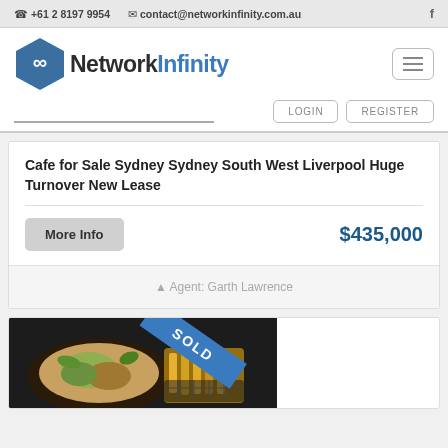+61 2 8197 9954   contact@networkinfinity.com.au   f
[Figure (logo): Network Infinity hexagon logo with infinity symbol and company name]
LOGIN   REGISTER
Cafe for Sale Sydney Sydney South West Liverpool Huge Turnover New Lease
$435,000
More Info
Agent: Garth Lawrence
[Figure (photo): Food photo of cafe dishes with a blue SOLD ribbon overlay in the top right corner]